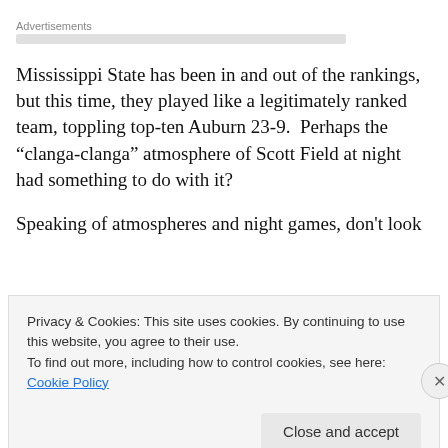Advertisements
Mississippi State has been in and out of the rankings, but this time, they played like a legitimately ranked team, toppling top-ten Auburn 23-9.  Perhaps the “clanga-clanga” atmosphere of Scott Field at night had something to do with it?
Speaking of atmospheres and night games, don't look
Privacy & Cookies: This site uses cookies. By continuing to use this website, you agree to their use.
To find out more, including how to control cookies, see here: Cookie Policy
Close and accept